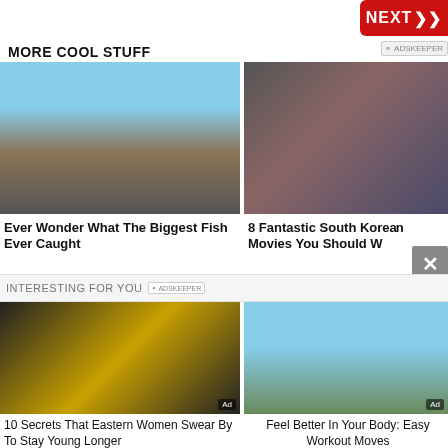[Figure (photo): Red NEXT button with arrow, top right corner]
MORE COOL STUFF
[Figure (photo): Group of people holding a large fish on a beach with a pier and sailboat in background]
[Figure (photo): Scene from a South Korean movie showing people running]
Ever Wonder What The Biggest Fish Ever Caught
8 Fantastic South Korean Movies You Should W
INTERESTING FOR YOU
[Figure (photo): Person with gold face mask beauty treatment]
[Figure (photo): Woman in workout clothes outdoors]
10 Secrets That Eastern Women Swear By To Stay Young Longer
Feel Better In Your Body: Easy Workout Moves